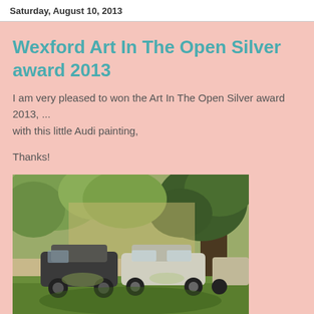Saturday, August 10, 2013
Wexford Art In The Open Silver award 2013
I am very pleased to won the Art In The Open Silver award 2013, ...
with this little Audi painting,
Thanks!
[Figure (photo): Painting of two cars (including an Audi) parked under large trees on a green lawn, painted in a muted impressionistic style with earthy greens and tans.]